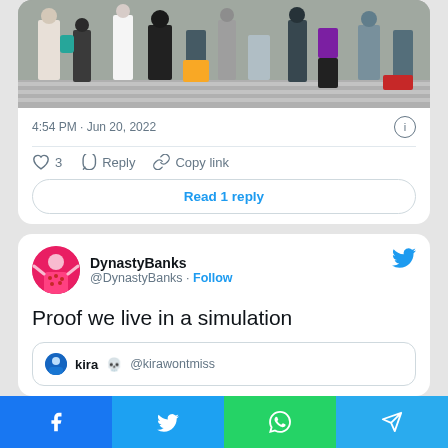[Figure (screenshot): Cropped photo of pedestrians crossing a street, partial view showing legs and lower bodies at a crosswalk]
4:54 PM · Jun 20, 2022
♡ 3   Reply   Copy link
Read 1 reply
DynastyBanks
@DynastyBanks · Follow
Proof we live in a simulation
kira 💀 @kirawontmiss